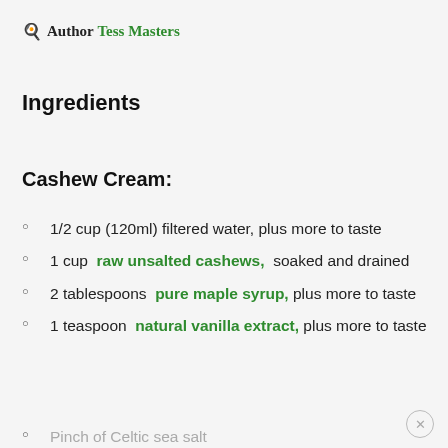🍳 Author Tess Masters
Ingredients
Cashew Cream:
1/2 cup (120ml) filtered water, plus more to taste
1 cup raw unsalted cashews, soaked and drained
2 tablespoons pure maple syrup, plus more to taste
1 teaspoon natural vanilla extract, plus more to taste
Pinch of Celtic sea salt